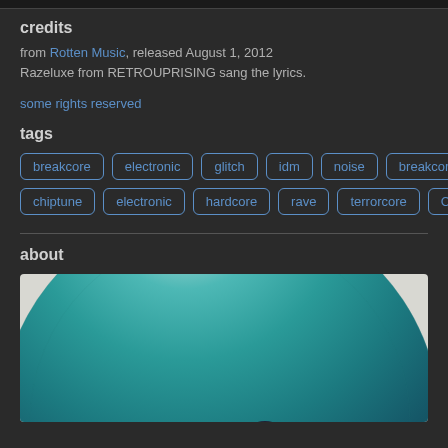credits
from Rotten Music, released August 1, 2012
Razeluxe from RETROUPRISING sang the lyrics.
some rights reserved
tags
breakcore electronic glitch idm noise breakcore chiptune electronic hardcore rave terrorcore Canada
about
[Figure (photo): Close-up photo of a teal/turquoise vinyl record]